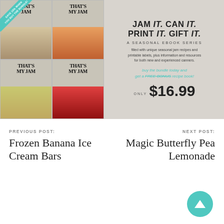[Figure (illustration): Promotional banner ad for 'That's My Jam' seasonal ebook series showing four book covers arranged in a 2x2 grid on the left side with jam/fruit imagery, a teal ribbon saying 'SAVE 15% WHEN YOU BUY THE BUNDLE!' and on a marble background the right side shows text: 'JAM it. CAN it. PRINT it. GIFT it.' — 'A SEASONAL EBOOK SERIES' filled with unique seasonal jam recipes and printable labels, plus information and resources for both new and experienced canners. 'buy the bundle today and get a FREE BONUS recipe book!' — ONLY $16.99]
PREVIOUS POST:
Frozen Banana Ice Cream Bars
NEXT POST:
Magic Butterfly Pea Lemonade